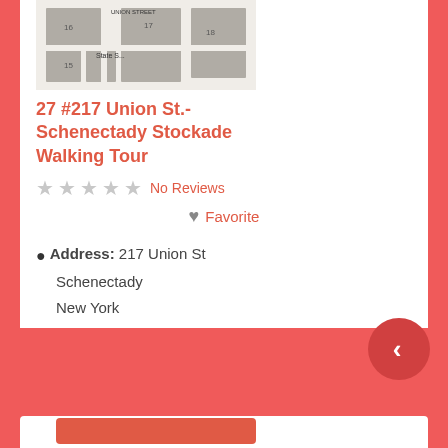[Figure (map): Street map showing 217 Union St area in Schenectady Stockade neighborhood with block outlines and street labels]
27 #217 Union St.- Schenectady Stockade Walking Tour
No Reviews
Favorite
Address: 217 Union St
Schenectady
New York
12305
United States
View 18 #14 North Church St.-Schenectady Stockade Walking Tour's all historical places